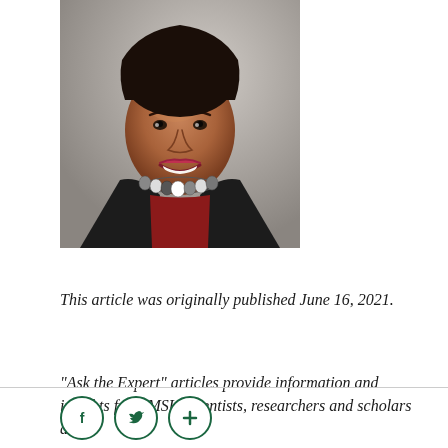[Figure (photo): Professional headshot of a smiling woman wearing a black blazer, dark red top, and a striped bead necklace, against a grey background.]
This article was originally published June 16, 2021.
“Ask the Expert” articles provide information and insights from MSU scientists, researchers and scholars about